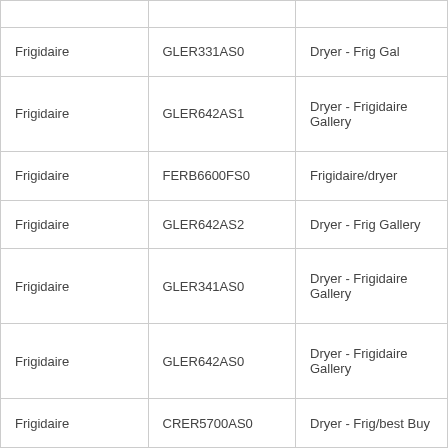|  |  |  |
| Frigidaire | GLER331AS0 | Dryer - Frig Gal |
| Frigidaire | GLER642AS1 | Dryer - Frigidaire Gallery |
| Frigidaire | FERB6600FS0 | Frigidaire/dryer |
| Frigidaire | GLER642AS2 | Dryer - Frig Gallery |
| Frigidaire | GLER341AS0 | Dryer - Frigidaire Gallery |
| Frigidaire | GLER642AS0 | Dryer - Frigidaire Gallery |
| Frigidaire | CRER5700AS0 | Dryer - Frig/best Buy |